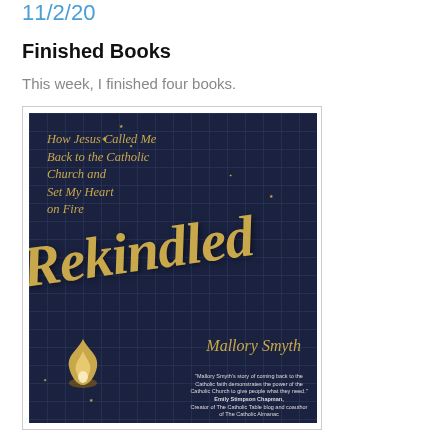11/2/20
Finished Books
This week, I finished four books.
[Figure (photo): Book cover of 'Rekindled: How Jesus Called Me Back to the Catholic Church and Set My Heart on Fire' by Mallory Smyth. Dark navy background with gold grid lines, gold script lettering for the title and subtitle, with a gold flame illustration at the bottom and a blurb from Emily Stimpson Chapman.]